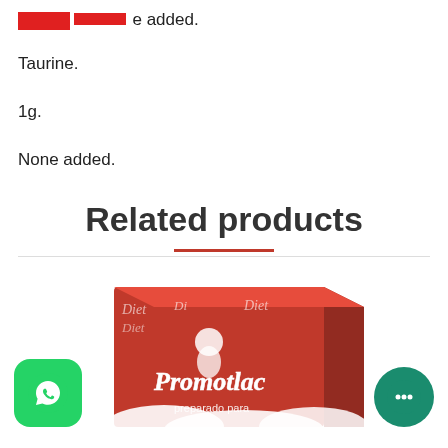[REDACTED] e added.
Taurine.
1g.
None added.
Related products
[Figure (photo): Photo of a red Promotlac diet product box, with text 'Diet Promotlac preparado para' visible on the box.]